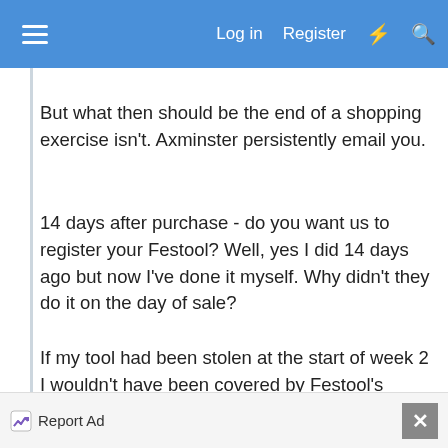Log in  Register
But what then should be the end of a shopping exercise isn't. Axminster persistently email you.
14 days after purchase - do you want us to register your Festool? Well, yes I did 14 days ago but now I've done it myself. Why didn't they do it on the day of sale?
If my tool had been stolen at the start of week 2 I wouldn't have been covered by Festool's insurance. Correspondence with Axminster revealed a total lack of comprehension of the issue. But some say Axminster are really good. Really good? How can that
Report Ad